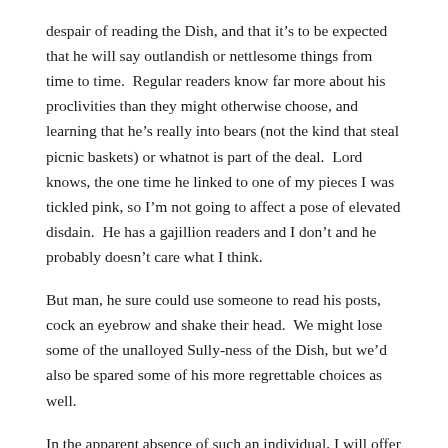despair of reading the Dish, and that it's to be expected that he will say outlandish or nettlesome things from time to time.  Regular readers know far more about his proclivities than they might otherwise choose, and learning that he's really into bears (not the kind that steal picnic baskets) or whatnot is part of the deal.  Lord knows, the one time he linked to one of my pieces I was tickled pink, so I'm not going to affect a pose of elevated disdain.  He has a gajillion readers and I don't and he probably doesn't care what I think.
But man, he sure could use someone to read his posts, cock an eyebrow and shake their head.  We might lose some of the unalloyed Sully-ness of the Dish, but we'd also be spared some of his more regrettable choices as well.
In the apparent absence of such an individual, I will offer my own unsolicited (and almost sure to be ignored entirely) advice — finding horrible things to say about Kim Jong-Il on the occasion of his passing should be like shooting fish in a barrel.  He was a monster and a blight on humanity, and there are innumerable excoriations to hurl at his